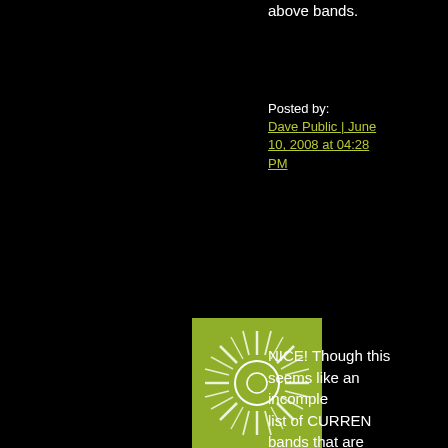above bands.
Posted by: Dave Public | June 10, 2008 at 04:28 PM
[Figure (illustration): Green square avatar with white starburst/sunburst pattern]
NICE! Though this seems like an incomplete list of CURRENT bands that are actually active in providence would give a better